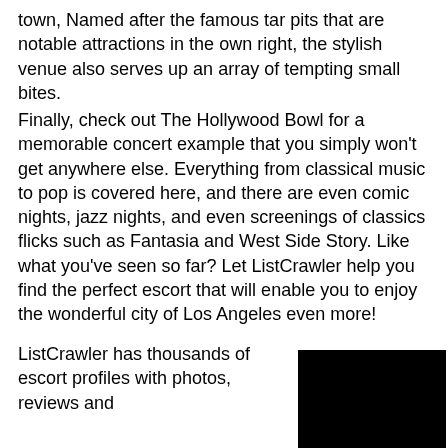town, Named after the famous tar pits that are notable attractions in the own right, the stylish venue also serves up an array of tempting small bites.
Finally, check out The Hollywood Bowl for a memorable concert example that you simply won't get anywhere else. Everything from classical music to pop is covered here, and there are even comic nights, jazz nights, and even screenings of classics flicks such as Fantasia and West Side Story. Like what you've seen so far? Let ListCrawler help you find the perfect escort that will enable you to enjoy the wonderful city of Los Angeles even more!
ListCrawler has thousands of escort profiles with photos, reviews and
[Figure (photo): Black rectangle image placeholder]